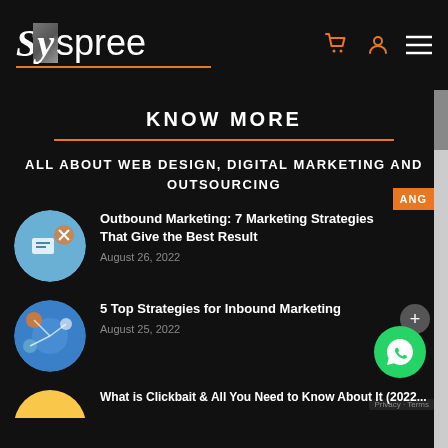Syspree
KNOW MORE
ALL ABOUT WEB DESIGN, DIGITAL MARKETING AND OUTSOURCING
Outbound Marketing: 7 Marketing Strategies That Give the Best Result — August 26, 2022
5 Top Strategies for Inbound Marketing — August 25, 2022
What is Clickbait & All You Need to Know About It (2022...